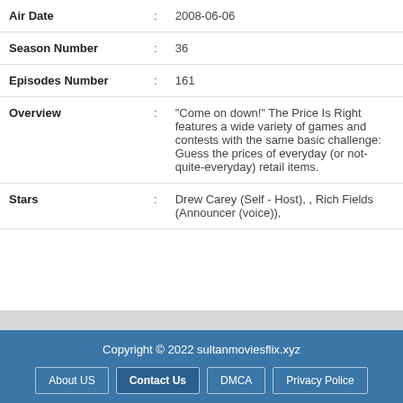| Air Date | : | 2008-06-06 |
| Season Number | : | 36 |
| Episodes Number | : | 161 |
| Overview | : | "Come on down!" The Price Is Right features a wide variety of games and contests with the same basic challenge: Guess the prices of everyday (or not-quite-everyday) retail items. |
| Stars | : | Drew Carey (Self - Host), , Rich Fields (Announcer (voice)), |
Copyright © 2022 sultanmoviesflix.xyz | About US | Contact Us | DMCA | Privacy Police